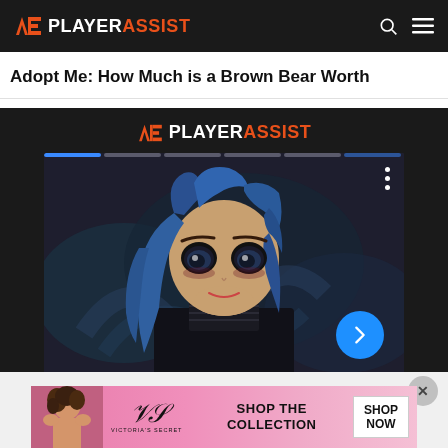PLAYERASSIST
Adopt Me: How Much is a Brown Bear Worth
[Figure (screenshot): PlayerAssist website screenshot showing a slider/carousel with an anime girl character (blue hair, dark outfit) from what appears to be Arcane/League of Legends. Blue progress bar at top, three-dot menu icon on right, blue arrow navigation button at bottom right.]
[Figure (photo): Victoria's Secret advertisement banner with a woman and VS logo, 'SHOP THE COLLECTION' text and 'SHOP NOW' button.]